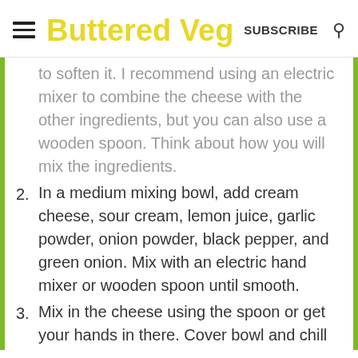Buttered Veg | SUBSCRIBE
to soften it. I recommend using an electric mixer to combine the cheese with the other ingredients, but you can also use a wooden spoon. Think about how you will mix the ingredients.
2. In a medium mixing bowl, add cream cheese, sour cream, lemon juice, garlic powder, onion powder, black pepper, and green onion. Mix with an electric hand mixer or wooden spoon until smooth.
3. Mix in the cheese using the spoon or get your hands in there. Cover bowl and chill for at least 1 hour, until it becomes firm.